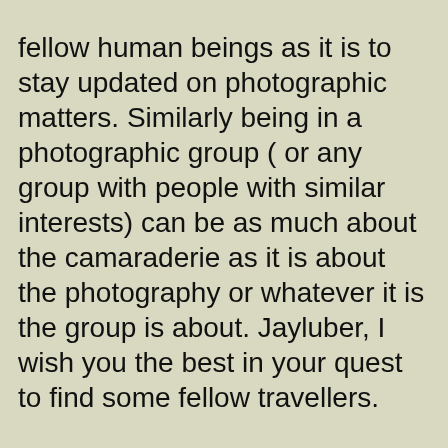this group is as much a way to have a connection with fellow human beings as it is to stay updated on photographic matters. Similarly being in a photographic group ( or any group with people with similar interests) can be as much about the camaraderie as it is about the photography or whatever it is the group is about. Jayluber, I wish you the best in your quest to find some fellow travellers.
Reply
Page 1 of 2  next>
If you want to reply, then register here. Registration is free and your account is created instantly, so you can post right away.
Main Photography Discussion
Home | Latest Digest | Back to Top | All Sections
Contact us | Privacy policy | Terms of use | DMCA
UglyHedgehog.com - Forum
Copyright 2011-2022 Ugly Hedgehog, Inc.